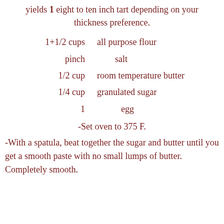yields 1 eight to ten inch tart depending on your thickness preference.
1+1/2 cups    all purpose flour
pinch    salt
1/2 cup    room temperature butter
1/4 cup    granulated sugar
1    egg
-Set oven to 375 F.
-With a spatula, beat together the sugar and butter until you get a smooth paste with no small lumps of butter. Completely smooth.